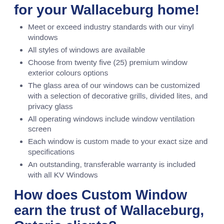for your Wallaceburg home!
Meet or exceed industry standards with our vinyl windows
All styles of windows are available
Choose from twenty five (25) premium window exterior colours options
The glass area of our windows can be customized with a selection of decorative grills, divided lites, and privacy glass
All operating windows include window ventilation screen
Each window is custom made to your exact size and specifications
An outstanding, transferable warranty is included with all KV Windows
How does Custom Window earn the trust of Wallaceburg, Ontario clients?